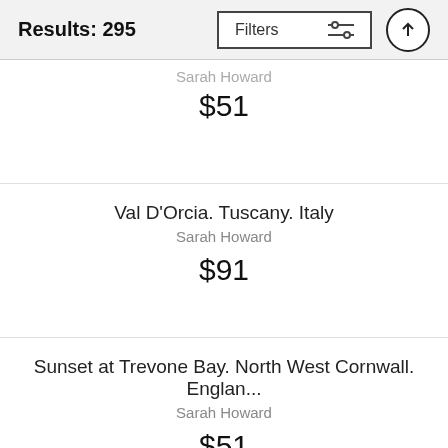Results: 295
Sarah Howard
$51
Val D'Orcia. Tuscany. Italy
Sarah Howard
$91
Sunset at Trevone Bay. North West Cornwall. Englan...
Sarah Howard
$51